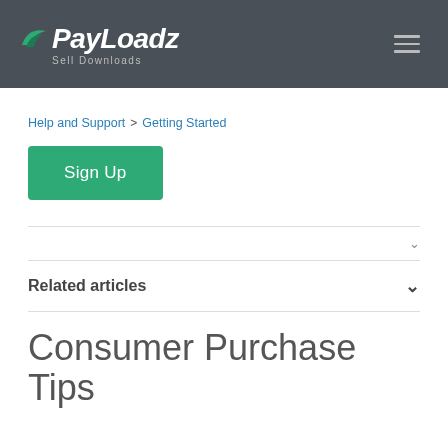[Figure (logo): PayLoadz logo with green wing icon, white bold italic text 'PayLoadz' and tagline 'Sell Downloads' on dark gray header background]
Help and Support > Getting Started
Sign Up
Related articles
Consumer Purchase Tips